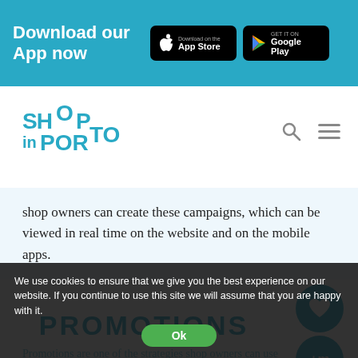Download our App now
[Figure (logo): Shop in Porto logo]
shop owners can create these campaigns, which can be viewed in real time on the website and on the mobile apps.
PROMOTIONS
Promotions are one of the strategies shop owners can use to sell their products, renew collections or simply win more customers and advertise their business. At Shop in
We use cookies to ensure that we give you the best experience on our website. If you continue to use this site we will assume that you are happy with it.
Ok